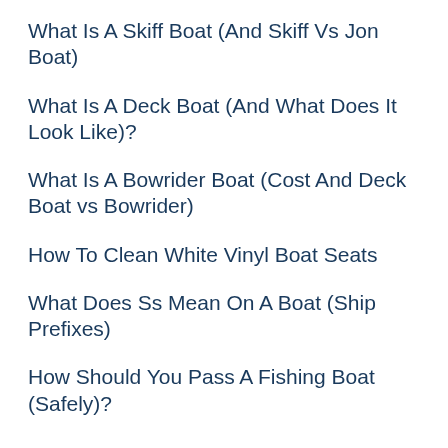What Is A Skiff Boat (And Skiff Vs Jon Boat)
What Is A Deck Boat (And What Does It Look Like)?
What Is A Bowrider Boat (Cost And Deck Boat vs Bowrider)
How To Clean White Vinyl Boat Seats
What Does Ss Mean On A Boat (Ship Prefixes)
How Should You Pass A Fishing Boat (Safely)?